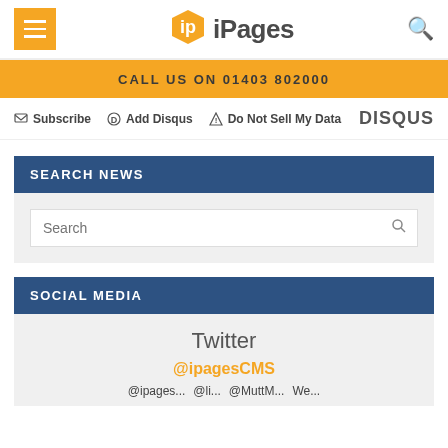iPages
CALL US ON 01403 802000
Subscribe  Add Disqus  Do Not Sell My Data  DISQUS
SEARCH NEWS
Search
SOCIAL MEDIA
Twitter
@ipagesCMS
@ipages... @li... @MuttM... We...